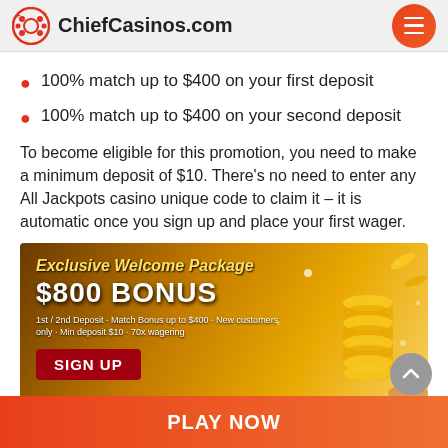ChiefCasinos.com
100% match up to $400 on your first deposit
100% match up to $400 on your second deposit
To become eligible for this promotion, you need to make a minimum deposit of $10. There's no need to enter any All Jackpots casino unique code to claim it – it is automatic once you sign up and place your first wager.
[Figure (illustration): Casino promotional banner: Exclusive Welcome Package $800 BONUS with gold coins and sparkle effects. Text: 1st/2nd Deposit · Match Bonus up to $400 · New customers only · Min deposit $10 · 70x wagering. SIGN UP button.]
This is quite a big promotion, but it also comes with high
PLAY NOW